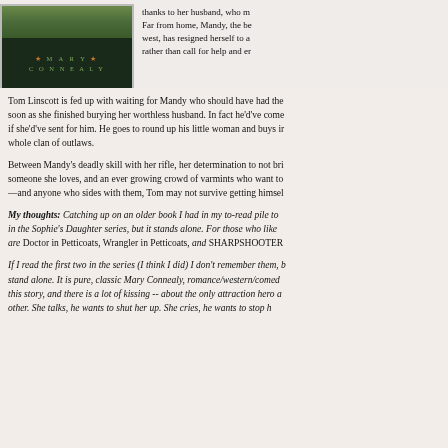[Figure (photo): Book cover for a Mary Connealy novel, dark green background with author name in teal letters flanked by orange stars]
thanks to her husband, who m… Far from home, Mandy, the be… west, has resigned herself to a… rather than call for help and er…
Tom Linscott is fed up with waiting for Mandy who should have had the soon as she finished burying her worthless husband. In fact he'd've come if she'd've sent for him. He goes to round up his little woman and buys in whole clan of outlaws.
Between Mandy's deadly skill with her rifle, her determination to not bri someone she loves, and an ever growing crowd of varmints who want to —and anyone who sides with them, Tom may not survive getting himsel
My thoughts:  Catching up on an older book I had in my to-read pile to in the Sophie's Daughter series, but it stands alone. For those who like are Doctor in Petticoats, Wrangler in Petticoats, and SHARPSHOOTER
If I read the first two in the series (I think I did) I don't remember them, b stand alone. It is pure, classic Mary Connealy, romance/western/comed this story, and there is a lot of kissing -- about the only attraction hero a other.  She talks, he wants to shut her up. She cries, he wants to stop h